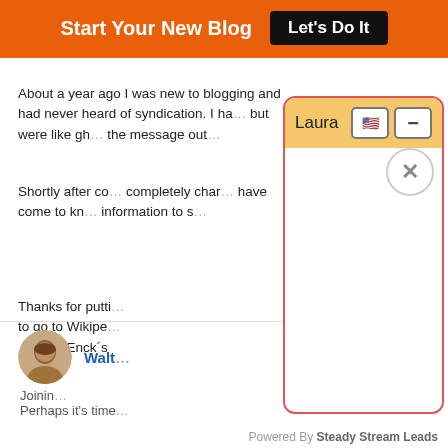Start Your New Blog  Let's Do It
About a year ago I was new to blogging and had never heard of syndication. I ha... but were like gh... the message out...
Shortly after co... completely char... have come to kn... information to s...
Thanks for putti... to go to Wikipe... .-= Don Enck´s
[Figure (screenshot): Popup dialog with orange header labeled 'Laura', US flag icon button, minus button, and X close button on a white background with red border]
Walt... Joinin... Perhaps it's time...
Powered By Steady Stream Leads